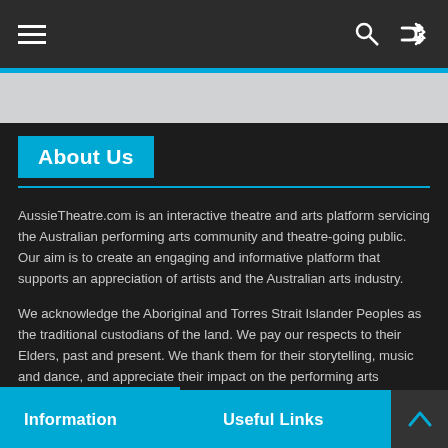≡   🔍  ⇄
About Us
AussieTheatre.com is an interactive theatre and arts platform servicing the Australian performing arts community and theatre-going public. Our aim is to create an engaging and informative platform that supports an appreciation of artists and the Australian arts industry.
We acknowledge the Aboriginal and Torres Strait Islander Peoples as the traditional custodians of the land. We pay our respects to their Elders, past and present. We thank them for their storytelling, music and dance, and appreciate their impact on the performing arts industry.
Information   Useful Links